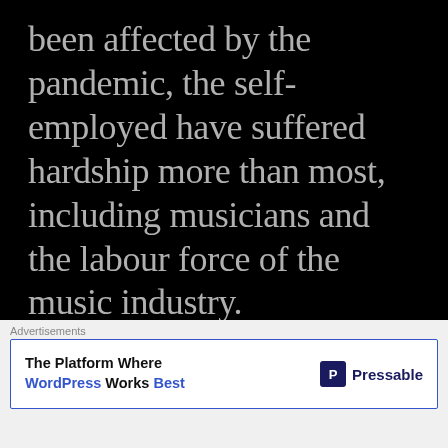been affected by the pandemic, the self-employed have suffered hardship more than most, including musicians and the labour force of the music industry.
FEATURED | BY RAGGEDCULT
Ragged CULT Presents: "The
[Figure (screenshot): Advertisement overlay: 'The Platform Where WordPress Works Best' - Pressable ad]